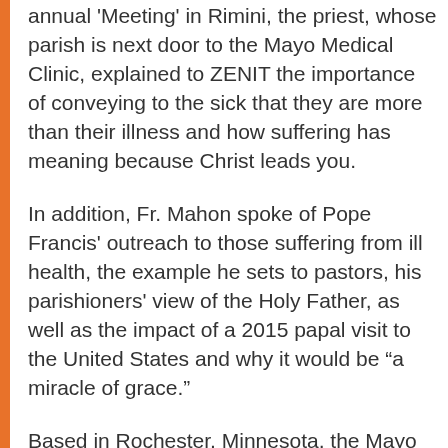annual 'Meeting' in Rimini, the priest, whose parish is next door to the Mayo Medical Clinic, explained to ZENIT the importance of conveying to the sick that they are more than their illness and how suffering has meaning because Christ leads you.
In addition, Fr. Mahon spoke of Pope Francis' outreach to those suffering from ill health, the example he sets to pastors, his parishioners' view of the Holy Father, as well as the impact of a 2015 papal visit to the United States and why it would be “a miracle of grace.”
Based in Rochester, Minnesota, the Mayo Clinic is reputed to be the best hospital in the United States. It is the first and largest integrated nonprofit medical group practice in the world, employing more than 3,800 physicians and scientists and